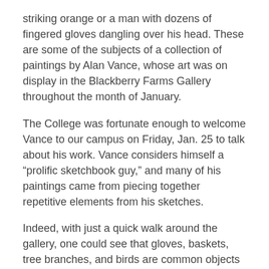striking orange or a man with dozens of fingered gloves dangling over his head. These are some of the subjects of a collection of paintings by Alan Vance, whose art was on display in the Blackberry Farms Gallery throughout the month of January.
The College was fortunate enough to welcome Vance to our campus on Friday, Jan. 25 to talk about his work. Vance considers himself a “prolific sketchbook guy,” and many of his paintings came from piecing together repetitive elements from his sketches.
Indeed, with just a quick walk around the gallery, one could see that gloves, baskets, tree branches, and birds are common objects of his collection. Vance stated that the gloves were reminiscent of his hometown farm in Kentucky, but other than that, the paintings do not hold deep meanings. This absence of meaning, however, was intentional.